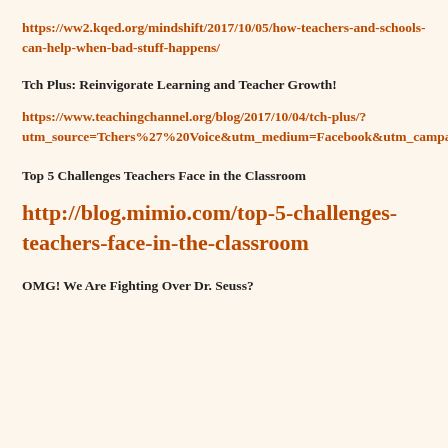https://ww2.kqed.org/mindshift/2017/10/05/how-teachers-and-schools-can-help-when-bad-stuff-happens/
Tch Plus: Reinvigorate Learning and Teacher Growth!
https://www.teachingchannel.org/blog/2017/10/04/tch-plus/?utm_source=Tchers%27%20Voice&utm_medium=Facebook&utm_campaign=Facebook%20UTM%20Metrics%20Oct%202017&utm_content=Tch%20Plus%3A%20Reinvigorate%20Learning%20and%20Teacher%20Growth!
Top 5 Challenges Teachers Face in the Classroom
http://blog.mimio.com/top-5-challenges-teachers-face-in-the-classroom
OMG! We Are Fighting Over Dr. Seuss?